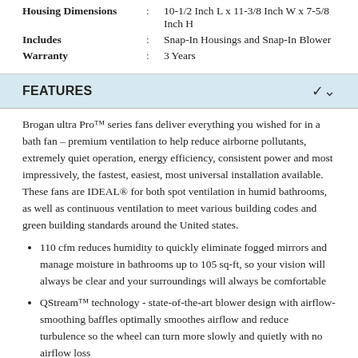| Housing Dimensions | : | 10-1/2 Inch L x 11-3/8 Inch W x 7-5/8 Inch H |
| Includes | : | Snap-In Housings and Snap-In Blower |
| Warranty | : | 3 Years |
FEATURES
Brogan ultra Pro™ series fans deliver everything you wished for in a bath fan – premium ventilation to help reduce airborne pollutants, extremely quiet operation, energy efficiency, consistent power and most impressively, the fastest, easiest, most universal installation available. These fans are IDEAL® for both spot ventilation in humid bathrooms, as well as continuous ventilation to meet various building codes and green building standards around the United states.
110 cfm reduces humidity to quickly eliminate fogged mirrors and manage moisture in bathrooms up to 105 sq-ft, so your vision will always be clear and your surroundings will always be comfortable
QStream™ technology - state-of-the-art blower design with airflow-smoothing baffles optimally smoothes airflow and reduce turbulence so the wheel can turn more slowly and quietly with no airflow loss
QFlow™ technology - duct connector damper flap is completely removed from airstream to reduce static pressure again, allowing the blower to turn more slowly and quietly, damper also seals against perimeter surfaces when closed to prevent backdrafts
Retrofit installations can be done entirely from the room-side – no attic access required. This means a faster, easier installation, so you can move on to something else